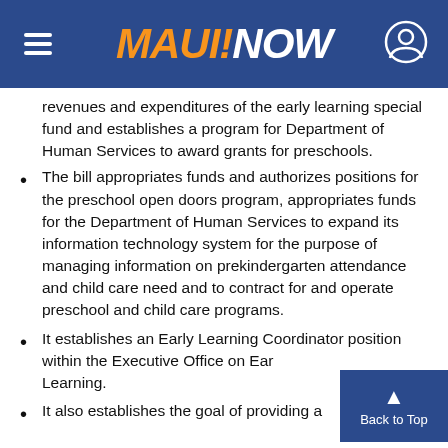MAUI NOW
revenues and expenditures of the early learning special fund and establishes a program for Department of Human Services to award grants for preschools.
The bill appropriates funds and authorizes positions for the preschool open doors program, appropriates funds for the Department of Human Services to expand its information technology system for the purpose of managing information on prekindergarten attendance and child care need and to contract for and operate preschool and child care programs.
It establishes an Early Learning Coordinator position within the Executive Office on Early Learning.
It also establishes the goal of providing a